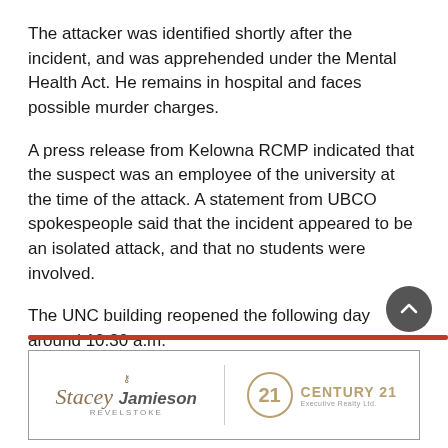The attacker was identified shortly after the incident, and was apprehended under the Mental Health Act. He remains in hospital and faces possible murder charges.
A press release from Kelowna RCMP indicated that the suspect was an employee of the university at the time of the attack. A statement from UBCO spokespeople said that the incident appeared to be an isolated attack, and that no students were involved.
The UNC building reopened the following day around 10:30 a.m.
[Figure (other): Advertisement banner for Stacey Jamieson Revelstoke and Century 21 Executive Realty Ltd.]